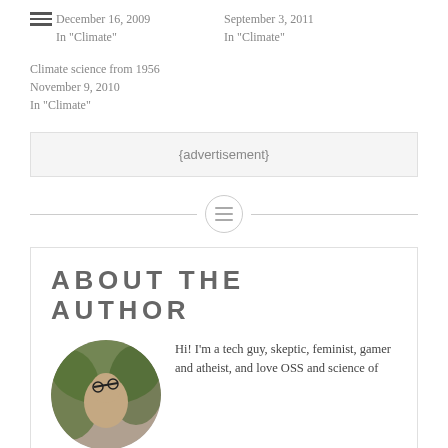December 16, 2009
In "Climate"
September 3, 2011
In "Climate"
Climate science from 1956
November 9, 2010
In "Climate"
{advertisement}
[Figure (other): Horizontal divider line with a circle icon containing a menu/hamburger icon in the center]
ABOUT THE AUTHOR
[Figure (photo): Circular cropped photo of the author, a person outdoors among trees]
Hi! I'm a tech guy, skeptic, feminist, gamer and atheist, and love OSS and science of